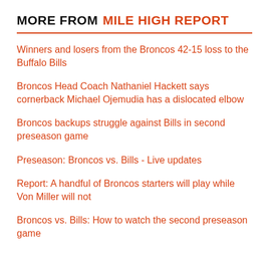MORE FROM MILE HIGH REPORT
Winners and losers from the Broncos 42-15 loss to the Buffalo Bills
Broncos Head Coach Nathaniel Hackett says cornerback Michael Ojemudia has a dislocated elbow
Broncos backups struggle against Bills in second preseason game
Preseason: Broncos vs. Bills - Live updates
Report: A handful of Broncos starters will play while Von Miller will not
Broncos vs. Bills: How to watch the second preseason game